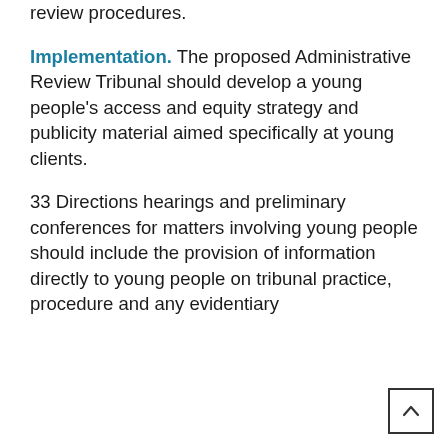review procedures.
Implementation. The proposed Administrative Review Tribunal should develop a young people's access and equity strategy and publicity material aimed specifically at young clients.
33 Directions hearings and preliminary conferences for matters involving young people should include the provision of information directly to young people on tribunal practice, procedure and any evidentiary